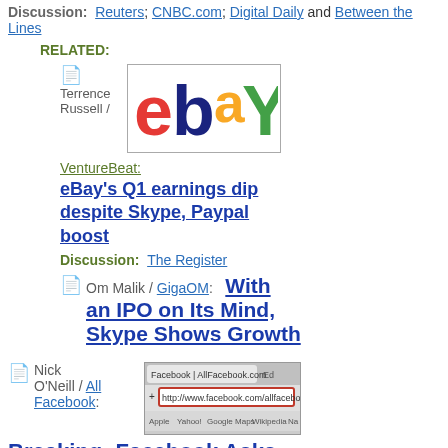Discussion: Reuters; CNBC.com; Digital Daily and Between the Lines
RELATED:
Terrence Russell /
[Figure (logo): eBay logo with colorful letters]
VentureBeat:
eBay's Q1 earnings dip despite Skype, Paypal boost
Discussion: The Register
Om Malik / GigaOM: With an IPO on Its Mind, Skype Shows Growth
Nick O'Neill / All Facebook:
[Figure (screenshot): Browser address bar showing Facebook / AllFacebook.com with URL http://www.facebook.com/allfacebook]
Breaking: Facebook Asks Users If They'll Pay For Vanity URLs — As Facebook searches for ways to increase their revenue, some users are being asked if they are willing to pay for vanity URLs